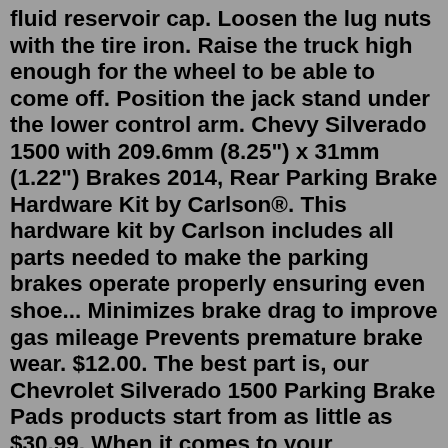fluid reservoir cap. Loosen the lug nuts with the tire iron. Raise the truck high enough for the wheel to be able to come off. Position the jack stand under the lower control arm. Chevy Silverado 1500 with 209.6mm (8.25") x 31mm (1.22") Brakes 2014, Rear Parking Brake Hardware Kit by Carlson®. This hardware kit by Carlson includes all parts needed to make the parking brakes operate properly ensuring even shoe... Minimizes brake drag to improve gas mileage Prevents premature brake wear. $12.00. The best part is, our Chevrolet Silverado 1500 Parking Brake Pads products start from as little as $30.99. When it comes to your Chevrolet Silverado 1500, you want parts and products from only trusted brands. Here at Advance Auto Parts, we work with only top reliable Parking Brake Pads product and part brands so you can shop with complete ... adjusting parking brake on older pick-ups ... Using the open end, now you can rotate Nut A to adjust the parking brake as needed. Once you have the parking brake properly adjusted, spin Nut B by hand hopefully till it is snug